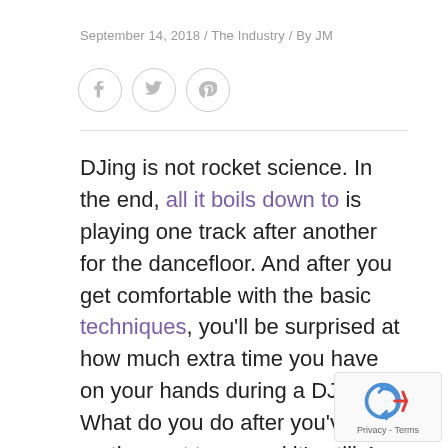September 14, 2018 / The Industry / By JM
[Figure (other): Social sharing icons: Facebook, Twitter, Pinterest — circular outlined buttons]
DJing is not rocket science. In the end, all it boils down to is playing one track after another for the dancefloor. And after you get comfortable with the basic techniques, you’ll be surprised at how much extra time you have on your hands during a DJ set. What do you do after you’ve lined up the next tune, and it’s still 4 minutes till the end of the currently playing one?